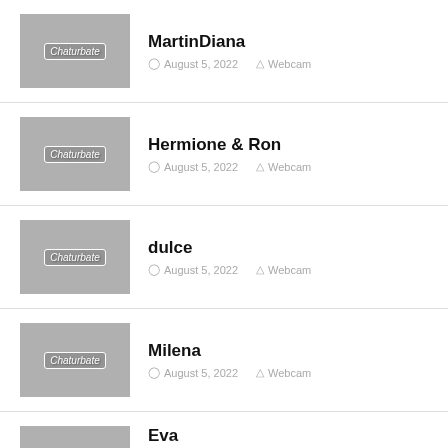MartinDiana | August 5, 2022 | Webcam
Hermione & Ron | August 5, 2022 | Webcam
dulce | August 5, 2022 | Webcam
Milena | August 5, 2022 | Webcam
Eva